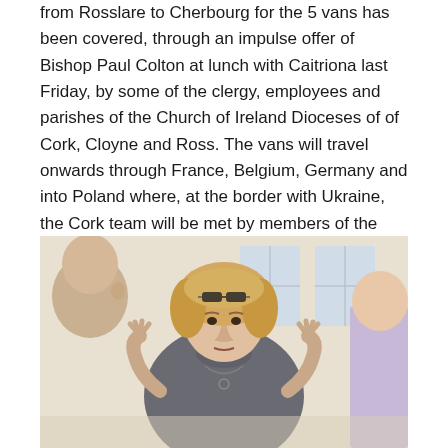from Rosslare to Cherbourg for the 5 vans has been covered, through an impulse offer of Bishop Paul Colton at lunch with Caitriona last Friday, by some of the clergy, employees and parishes of the Church of Ireland Dioceses of of Cork, Cloyne and Ross. The vans will travel onwards through France, Belgium, Germany and into Poland where, at the border with Ukraine, the Cork team will be met by members of the Redemptorist Order who will bring them into Ukraine.
[Figure (photo): A woman with glasses pushed up on her forehead, wearing a grey turtleneck sweater and a necklace, gesturing with both hands raised. She is seated between two other partially visible people. Background shows windows in a bright room.]